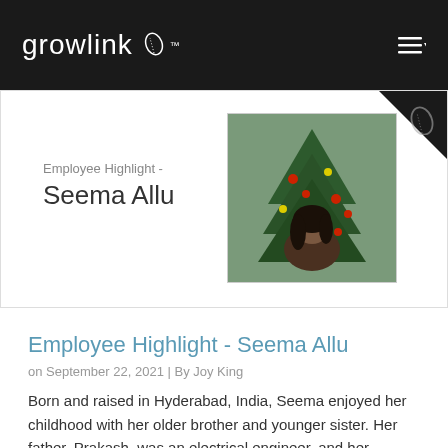growlink
[Figure (photo): Employee photo of Seema Allu smiling in front of a decorated Christmas tree, wearing a light blue mask]
Employee Highlight -
Seema Allu
Employee Highlight - Seema Allu
on September 22, 2021 | By Joy King
Born and raised in Hyderabad, India, Seema enjoyed her childhood with her older brother and younger sister. Her father, Prakash, was an electrical engineer, and her